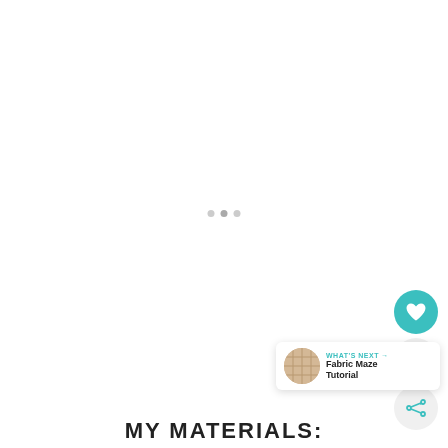[Figure (photo): Large white/blank image area with three dot carousel indicators in the center]
[Figure (infographic): Heart/like button (teal circle with heart icon), like count badge showing 232, and share button (circle with share icon) stacked vertically on the right side]
[Figure (infographic): What's Next card in bottom right showing a woven fabric thumbnail and text 'Fabric Maze Tutorial']
MY MATERIALS: